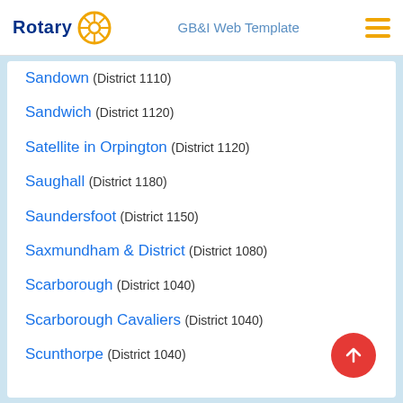Rotary GB&I Web Template
Sandown (District 1110)
Sandwich (District 1120)
Satellite in Orpington (District 1120)
Saughall (District 1180)
Saundersfoot (District 1150)
Saxmundham & District (District 1080)
Scarborough (District 1040)
Scarborough Cavaliers (District 1040)
Scunthorpe (District 1040)